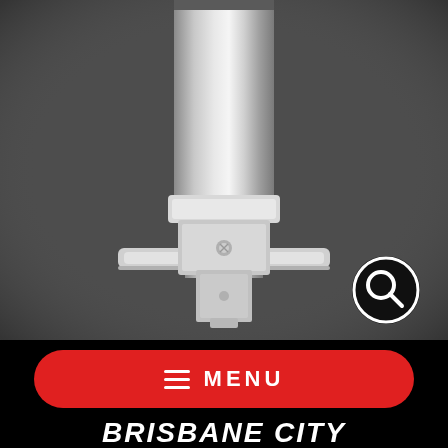[Figure (photo): Close-up photo of a metal cylindrical post/pole with a white mounting bracket base plate on a dark grey background. The pole appears to be a signpost or bollard mounting hardware with a clamp or collar at the base and a flat square white base plate. A magnifying glass / search icon circle is overlaid in the lower-right corner of the photo.]
≡  MENU
BRISBANE CITY